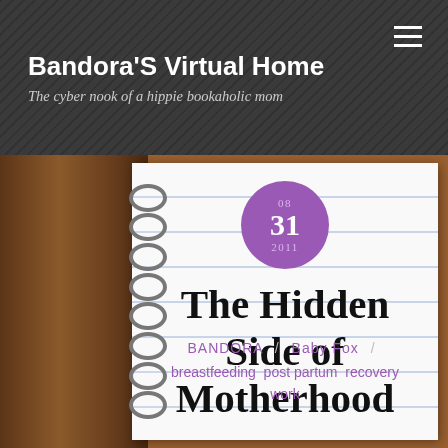Bandora'S Virtual Home — The cyber nook of a hippie bookaholic mom
[Figure (other): Purple circle date badge showing 08 / 31 / 2011]
The Hidden Side of Motherhood
BANDORA / Baby Fox / breastfeeding post partum recovery work